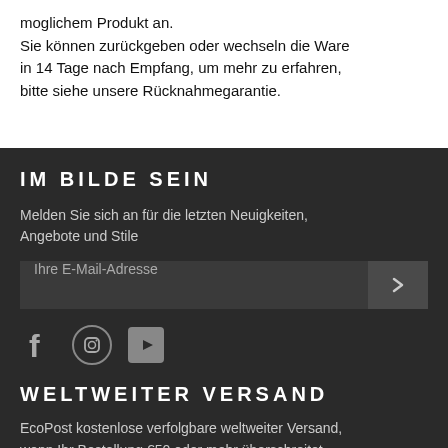moglichem Produkt an.
Sie können zurückgeben oder wechseln die Ware in 14 Tage nach Empfang, um mehr zu erfahren, bitte siehe unsere Rücknahmegarantie.
IM BILDE SEIN
Melden Sie sich an für die letzten Neuigkeiten, Angebote und Stile
[Figure (other): Email subscription input field with arrow button and social media icons (Facebook, Instagram, YouTube)]
WELTWEITER VERSAND
EcoPost kostenlose verfolgbare weltweiter Versand, wenn Ihr Bestellung €50 oder mehr überschreitet.